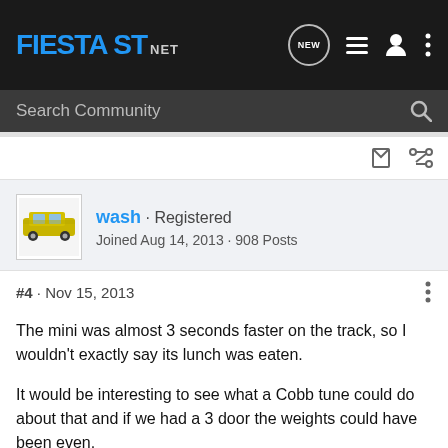FIESTA ST.NET
Search Community
wash · Registered
Joined Aug 14, 2013 · 908 Posts
#4 · Nov 15, 2013
The mini was almost 3 seconds faster on the track, so I wouldn't exactly say its lunch was eaten.
It would be interesting to see what a Cobb tune could do about that and if we had a 3 door the weights could have been even.
Still there is no shame in losing to a Corvette or SLS Black.